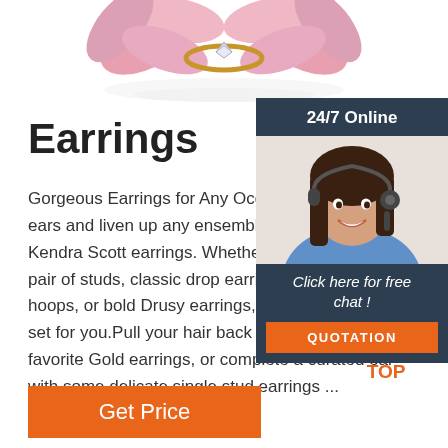[Figure (photo): Pink floral earring with gold ring and diamond accent, shown with reflection on white background]
Earrings
Gorgeous Earrings for Any Occasion. D ears and liven up any ensemble with a p Kendra Scott earrings. Whether you pre pair of studs, classic drop earrings, a fu hoops, or bold Drusy earrings, we have set for you.Pull your hair back to really s favorite Gold earrings, or complete a curated ear with some delicate single stud earrings ...
[Figure (photo): 24/7 Online customer service agent - woman with headset smiling, with Click here for free chat and QUOTATION button]
[Figure (other): TOP navigation icon with orange triangle/arrow and text TOP]
Get Price